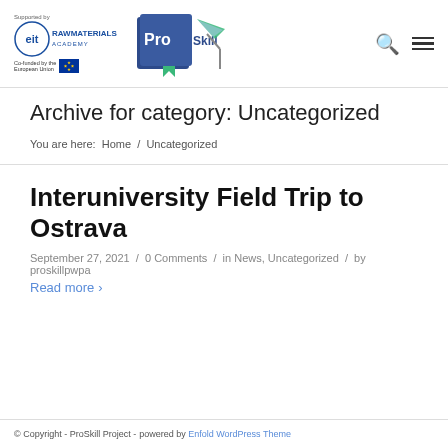ProSkill Academy - supported by EIT RawMaterials Academy, Co-funded by the European Union
Archive for category: Uncategorized
You are here:  Home  /  Uncategorized
Interuniversity Field Trip to Ostrava
September 27, 2021  /  0 Comments  /  in News, Uncategorized  /  by proskillpwpa
Read more
© Copyright - ProSkill Project - powered by Enfold WordPress Theme